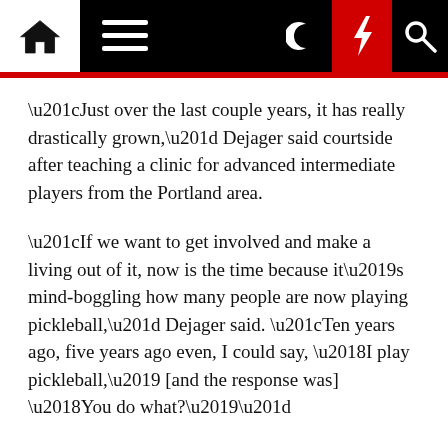[Navigation bar with home, menu, moon, lightning, search icons]
“Just over the last couple years, it has really drastically grown,” Dejager said courtside after teaching a clinic for advanced intermediate players from the Portland area.
“If we want to get involved and make a living out of it, now is the time because it’s mind-boggling how many people are now playing pickleball,” Dejager said. “Ten years ago, five years ago even, I could say, ‘I play pickleball,’ [and the response was] ‘You do what?’”
Dejager teaches at a brand-new indoor pickleball center in suburban Clackamas, outside Portland. It’s named RECS — short for Recreate, Exercise, Compete, Socialize. The nine rubber-cushioned pickleball courts replaced an indoor soccer